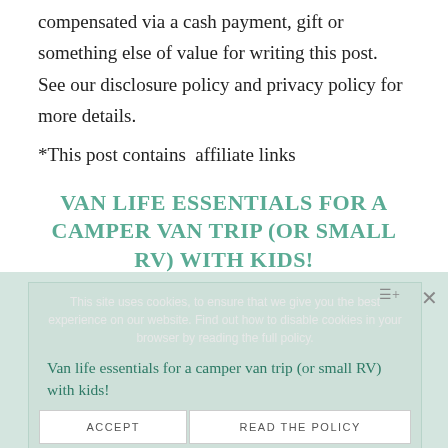compensated via a cash payment, gift or something else of value for writing this post. See our disclosure policy and privacy policy for more details.
*This post contains  affiliate links
VAN LIFE ESSENTIALS FOR A CAMPER VAN TRIP (OR SMALL RV) WITH KIDS!
This site uses cookies, to ensure that we give you the best experience on our website. Find out how to disable cookies in your browser by reading the full policy.
Van life essentials for a camper van trip (or small RV) with kids!
ACCEPT
READ THE POLICY
Camping table and chairs